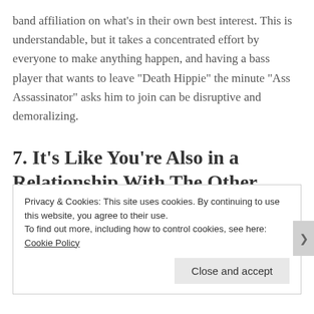band affiliation on what's in their own best interest. This is understandable, but it takes a concentrated effort by everyone to make anything happen, and having a bass player that wants to leave “Death Hippie” the minute “Ass Assassinator” asks him to join can be disruptive and demoralizing.
7. It’s Like You’re Also in a Relationship With The Other
Privacy & Cookies: This site uses cookies. By continuing to use this website, you agree to their use.
To find out more, including how to control cookies, see here: Cookie Policy